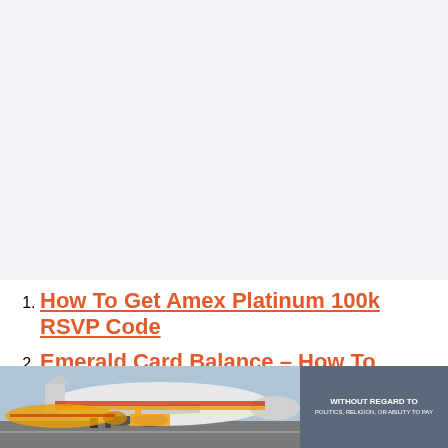How To Get Amex Platinum 100k RSVP Code
Emerald Card Balance – How To Check It Online
[Figure (photo): Cargo airplane being loaded on tarmac, with yellow and red aircraft livery visible]